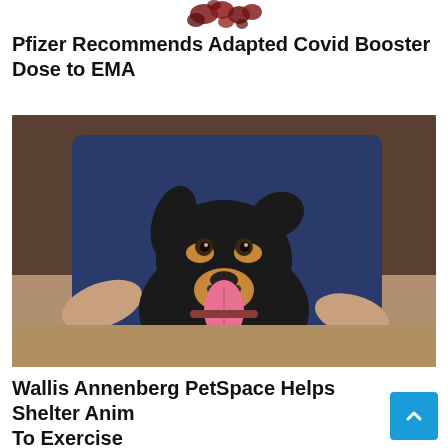[Figure (illustration): Decorative red/dark floral or berry-like shapes at the top center of the page]
Pfizer Recommends Adapted Covid Booster Dose to EMA
[Figure (photo): A black and tan dog sitting in front of a person wearing a navy blue t-shirt with a cyan logo, outdoors on a dirt/sandy surface. The dog has its tongue out and appears happy.]
Wallis Annenberg PetSpace Helps Shelter Animals To Exercise